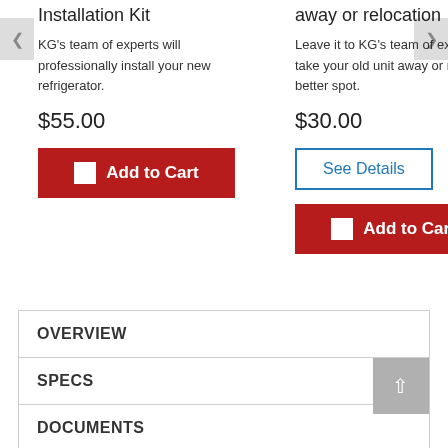Installation Kit
KG's team of experts will professionally install your new refrigerator.
$55.00
Add to Cart
away or relocation
Leave it to KG's team of experts to take your old unit away or move it to a better spot.
$30.00
See Details
Add to Cart
OVERVIEW
SPECS
DOCUMENTS